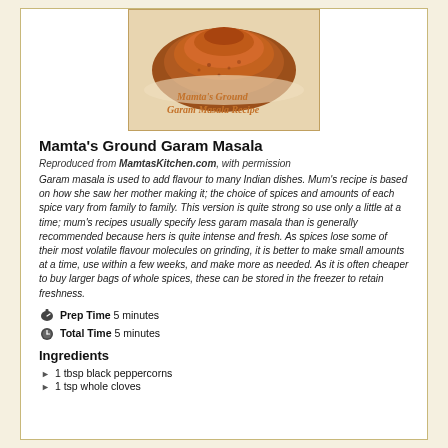[Figure (photo): A pile of ground garam masala spice on a white plate/surface with cursive text overlay reading 'Mamta's Ground Garam Masala Recipe']
Mamta's Ground Garam Masala
Reproduced from MamtasKitchen.com, with permission
Garam masala is used to add flavour to many Indian dishes. Mum's recipe is based on how she saw her mother making it; the choice of spices and amounts of each spice vary from family to family. This version is quite strong so use only a little at a time; mum's recipes usually specify less garam masala than is generally recommended because hers is quite intense and fresh. As spices lose some of their most volatile flavour molecules on grinding, it is better to make small amounts at a time, use within a few weeks, and make more as needed. As it is often cheaper to buy larger bags of whole spices, these can be stored in the freezer to retain freshness.
Prep Time 5 minutes
Total Time 5 minutes
Ingredients
1 tbsp black peppercorns
1 tsp whole cloves